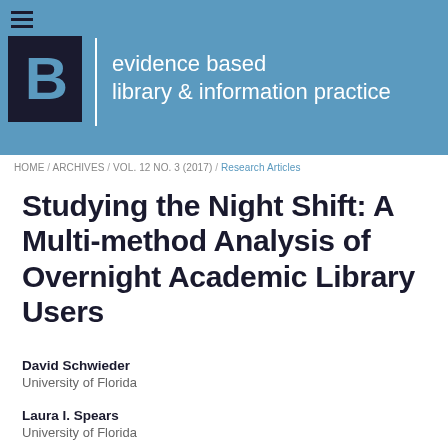evidence based library & information practice
HOME / ARCHIVES / VOL. 12 NO. 3 (2017) / Research Articles
Studying the Night Shift: A Multi-method Analysis of Overnight Academic Library Users
David Schwieder
University of Florida
Laura I. Spears
University of Florida